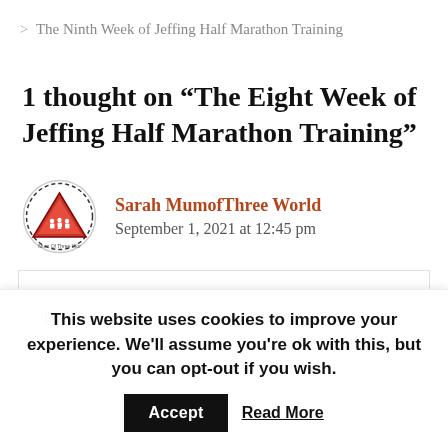> The Ninth Week of Jeffing Half Marathon Training
1 thought on “The Eight Week of Jeffing Half Marathon Training”
Sarah MumofThree World
September 1, 2021 at 12:45 pm
That sounds like a busy week! I bet your
This website uses cookies to improve your experience. We'll assume you're ok with this, but you can opt-out if you wish. Accept Read More